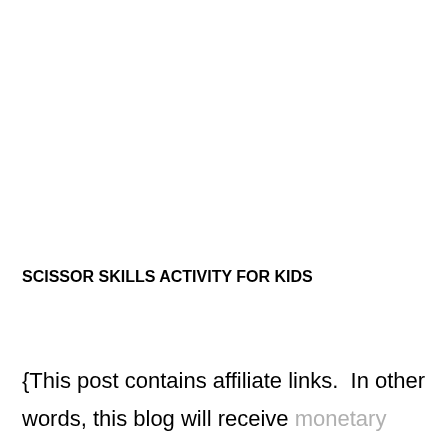SCISSOR SKILLS ACTIVITY FOR KIDS
{This post contains affiliate links.  In other words, this blog will receive monetary compensation when any